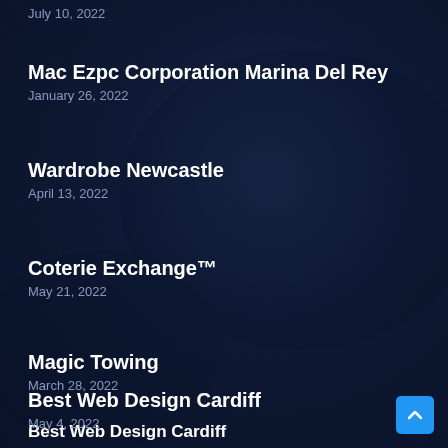July 10, 2022
Mac Ezpc Corporation Marina Del Rey
January 26, 2022
Wardrobe Newcastle
April 13, 2022
Coterie Exchange™
May 21, 2022
Magic Towing
March 28, 2022
Best Web Design Cardiff
May 4, 2022